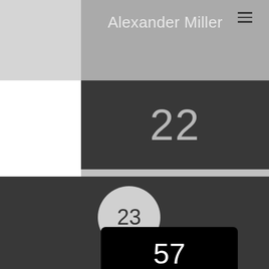Alexander Miller
22
23
57
Nico Davis
20